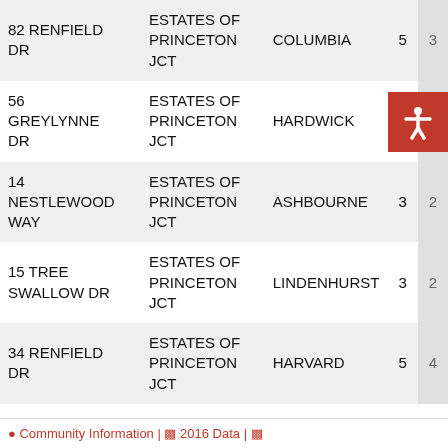| Address | Subdivision | Township | Beds | Baths |
| --- | --- | --- | --- | --- |
| 82 RENFIELD DR | ESTATES OF PRINCETON JCT | COLUMBIA | 5 | 3 |
| 56 GREYLYNNE DR | ESTATES OF PRINCETON JCT | HARDWICK | 4 | 2 |
| 14 NESTLEWOOD WAY | ESTATES OF PRINCETON JCT | ASHBOURNE | 3 | 2 |
| 15 TREE SWALLOW DR | ESTATES OF PRINCETON JCT | LINDENHURST | 3 | 2 |
| 34 RENFIELD DR | ESTATES OF PRINCETON JCT | HARVARD | 5 | 4 |
Community Information | 2016 Data |